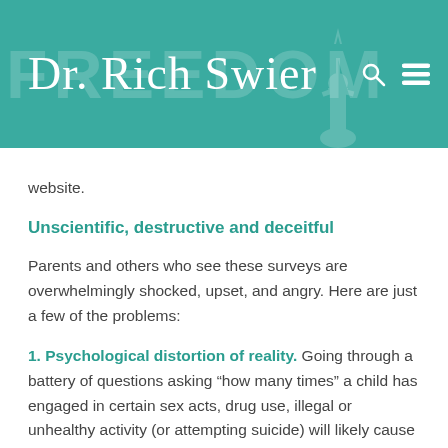Dr. Rich Swier
website.
Unscientific, destructive and deceitful
Parents and others who see these surveys are overwhelmingly shocked, upset, and angry. Here are just a few of the problems:
1. Psychological distortion of reality. Going through a battery of questions asking “how many times” a child has engaged in certain sex acts, drug use, illegal or unhealthy activity (or attempting suicide) will likely cause the child to believe he is abnormal if he is not doing it at all